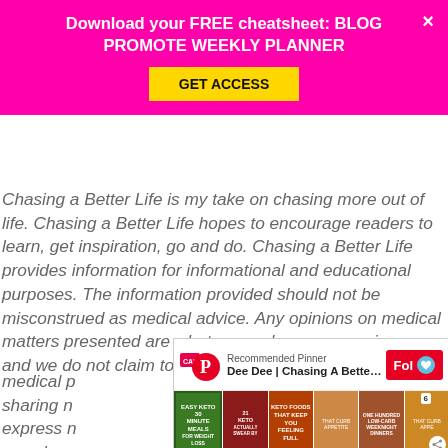Download your FREE cheatsheet: BLOG PROMOTE WEEKLY PLANNER
GET ACCESS
Chasing a Better Life is my take on chasing more out of life. Chasing a Better Life hopes to encourage readers to learn, get inspiration, go and do. Chasing a Better Life provides information for informational and educational purposes. The information provided should not be misconstrued as medical advice. Any opinions on medical matters presented are what we seek on our own journey and we do not claim to be medical professionals. We are not medical professionals sharing medical advice or opinions and we express that you shou…
[Figure (infographic): Pinterest 'Recommended Pinner' widget overlay showing Dee Dee | Chasing A Better ... profile with a Follow button and a grid of keto recipe images. Footer shows 'Powered by MiloTree' and an X CLOSE button.]